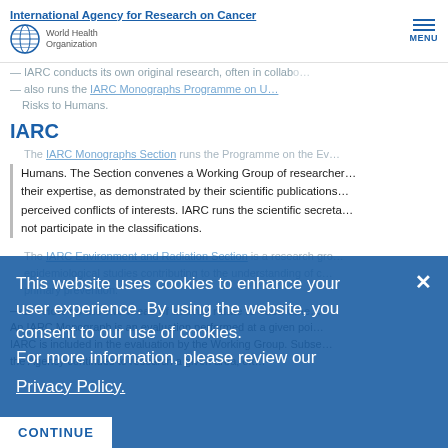International Agency for Research on Cancer | World Health Organization | MENU
1 – What contribution does IARC make to this area of s…
— IARC conducts its own original research, often in collabo…
— also runs the IARC Monographs Programme on … Risks to Humans.
IARC
The IARC Monographs Section runs the Programme on the Ev…
Humans. The Section convenes a Working Group of researcher… their expertise, as demonstrated by their scientific publications… perceived conflicts of interests. IARC runs the scientific secreta… not participate in the classifications.
The IARC Environment and Radiation Section is a research gro… epidemiological studies contributing to the understanding of c… primary prevention.
— 2 – How do the two areas of activity relate to each othe…
An IARC Monograph is an evaluation performed at a given poi… IARC is included in the evaluation by the Working Group. Subse… the Agency continues to research a given area, oft…
This website uses cookies to enhance your user experience. By using the website, you consent to our use of cookies. For more information, please review our Privacy Policy.
CONTINUE